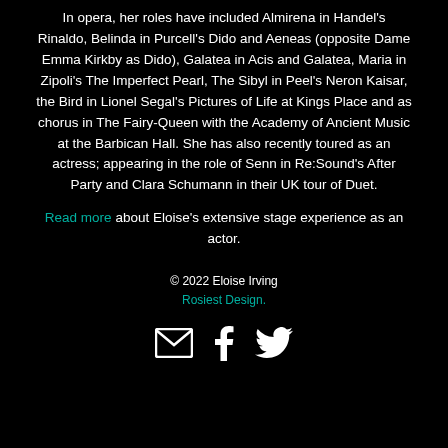In opera, her roles have included Almirena in Handel's Rinaldo, Belinda in Purcell's Dido and Aeneas (opposite Dame Emma Kirkby as Dido), Galatea in Acis and Galatea, Maria in Zipoli's The Imperfect Pearl, The Sibyl in Peel's Neron Kaisar, the Bird in Lionel Segal's Pictures of Life at Kings Place and as chorus in The Fairy-Queen with the Academy of Ancient Music at the Barbican Hall. She has also recently toured as an actress; appearing in the role of Senn in Re:Sound's After Party and Clara Schumann in their UK tour of Duet.
Read more about Eloise's extensive stage experience as an actor.
© 2022 Eloise Irving
Rosiest Design.
[Figure (other): Three white social media icons: envelope (email), Facebook, and Twitter, displayed in a row on a black background.]